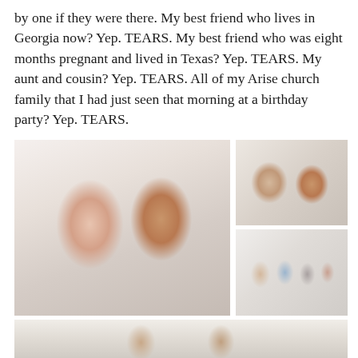by one if they were there. My best friend who lives in Georgia now? Yep. TEARS. My best friend who was eight months pregnant and lived in Texas? Yep. TEARS. My aunt and cousin? Yep. TEARS. All of my Arise church family that I had just seen that morning at a birthday party? Yep. TEARS.
[Figure (photo): Collage of photos showing groups of women at what appears to be a party or gathering. Large photo on left shows two women hugging and smiling. Top right shows two women posing together. Bottom right shows four people standing together. Bottom strip shows people at a table.]